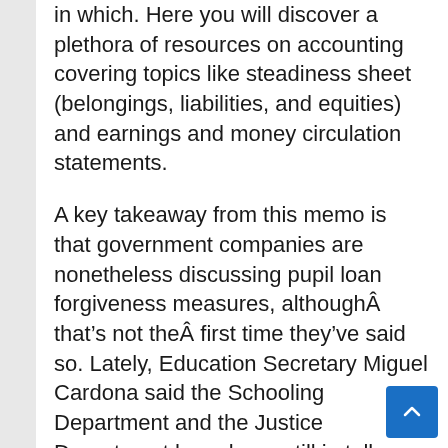in which. Here you will discover a plethora of resources on accounting covering topics like steadiness sheet (belongings, liabilities, and equities) and earnings and money circulation statements.
A key takeaway from this memo is that government companies are nonetheless discussing pupil loan forgiveness measures, althoughÂ that’s not theÂ first time they’ve said so. Lately, Education Secretary Miguel Cardona said the Schooling Department and the Justice Department have been still in talks about “broad” loan cancellation. Lean Planning turns what could possibly be just a static doc into an energetic management tool for your enterprise.
As long as your buddy is in one of many